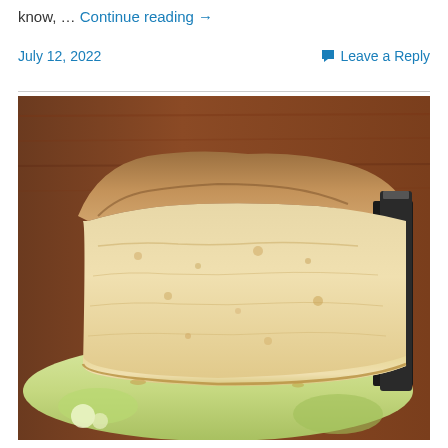know, … Continue reading →
July 12, 2022   💬 Leave a Reply
[Figure (photo): A close-up photograph of a large slice of light, fluffy cake with a browned top crust, sitting on a floral-patterned plate with a dark knife visible on the right side. The background shows a wooden table surface.]